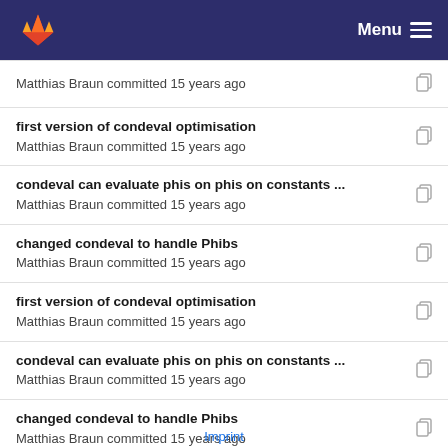GitLab Menu
Matthias Braun committed 15 years ago
first version of condeval optimisation
Matthias Braun committed 15 years ago
condeval can evaluate phis on phis on constants ...
Matthias Braun committed 15 years ago
changed condeval to handle Phibs
Matthias Braun committed 15 years ago
first version of condeval optimisation
Matthias Braun committed 15 years ago
condeval can evaluate phis on phis on constants ...
Matthias Braun committed 15 years ago
changed condeval to handle Phibs
Matthias Braun committed 15 years ago
condeval can evaluate phis on phis on constants ...
Imprint